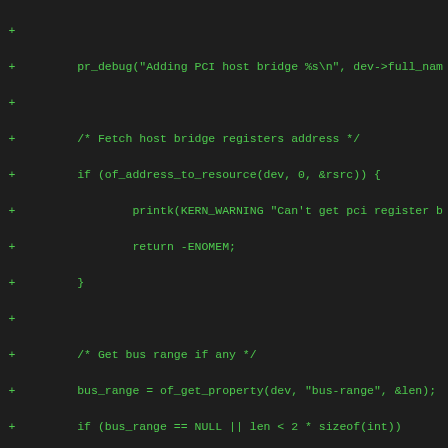Diff/patch code snippet showing PCI host bridge setup in C
+         pr_debug("Adding PCI host bridge %s\n", dev->full_nam
+
+         /* Fetch host bridge registers address */
+         if (of_address_to_resource(dev, 0, &rsrc)) {
+                 printk(KERN_WARNING "Can't get pci register b
+                 return -ENOMEM;
+         }
+
+         /* Get bus range if any */
+         bus_range = of_get_property(dev, "bus-range", &len);
+         if (bus_range == NULL || len < 2 * sizeof(int))
+                 printk(KERN_WARNING "Can't get bus-range for
+                         " bus 0\n", dev->full_name);
+
+         pci_add_flags(PCI_REASSIGN_ALL_BUS);
+         hose = pcibios_alloc_controller(dev);
+         if (!hose)
+                 return -ENOMEM;
+
+         hose->first_busno = bus_range ? bus_range[0] : 0x0;
+         hose->last_busno = bus_range ? bus_range[1] : 0xff;
+
+         setup_indirect_pci(hose, rsrc.start, rsrc.start + 0x4
+                 PPC_INDIRECT_TYPE_BIG_ENDIAN);